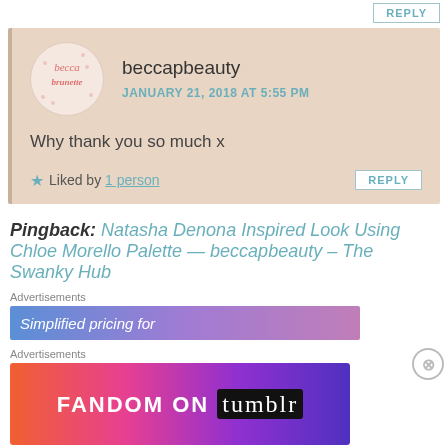REPLY (top button)
beccapbeauty
JANUARY 21, 2018 AT 5:55 PM
Why thank you so much x
Liked by 1 person
REPLY
Pingback: Natasha Denona Inspired Look Using Chloe Morello Palette — beccapbeauty – The Swanky Hub
Advertisements
Simplified pricing for
[Figure (screenshot): FANDOM ON tumblr advertisement banner with colorful gradient background]
Advertisements